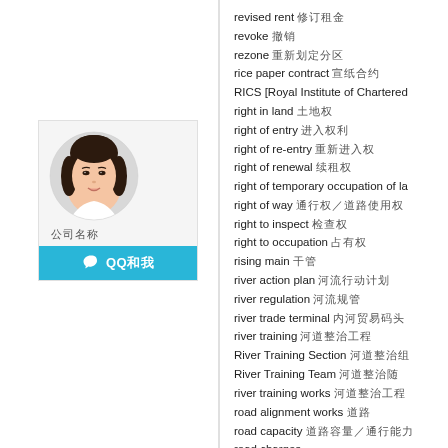[Figure (photo): Profile photo of a young Asian woman in a circular frame, with name text in CJK characters below and a cyan QQ contact bar at the bottom]
revised rent 修订租金
revoke 撤销
rezone 重新划定分区
rice paper contract 宣纸合约
RICS [Royal Institute of Chartered...
right in land 土地权
right of entry 进入权利
right of re-entry 重新进入权
right of renewal 续租权
right of temporary occupation of la...
right of way 通行权/道路使用权
right to inspect 检查权
right to occupation 占有权
rising main 干管
river action plan 河流行动计划
river regulation 河流规管
river trade terminal 内河贸易码头
river training 河道整治工程
River Training Section 河道整治组
River Training Team 河道整治队
river training works 河道整治工程
road alignment works 道路
road capacity 道路容量/通行能力
road charges...